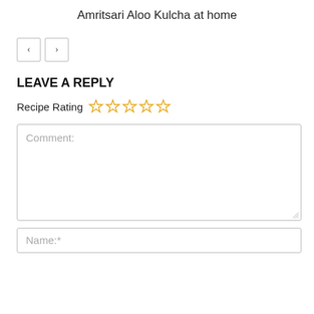Amritsari Aloo Kulcha at home
[Figure (other): Navigation buttons: left arrow and right arrow]
LEAVE A REPLY
Recipe Rating (5 empty stars)
Comment:
Name:*